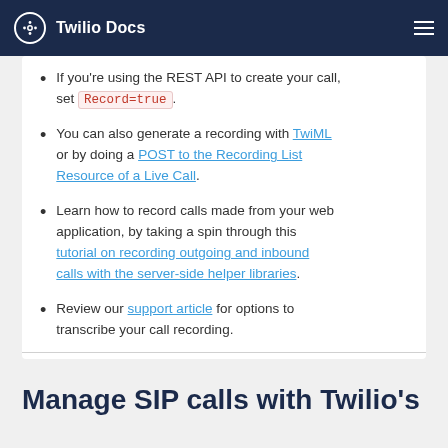Twilio Docs
If you're using the REST API to create your call, set Record=true.
You can also generate a recording with TwiML or by doing a POST to the Recording List Resource of a Live Call.
Learn how to record calls made from your web application, by taking a spin through this tutorial on recording outgoing and inbound calls with the server-side helper libraries.
Review our support article for options to transcribe your call recording.
Manage SIP calls with Twilio's